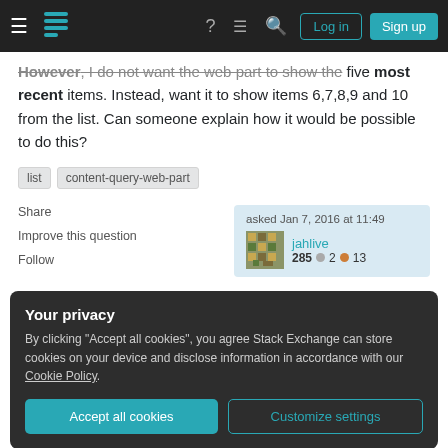Stack Exchange navigation bar with Log in and Sign up buttons
However, I do not want the web part to show the five most recent items. Instead, want it to show items 6,7,8,9 and 10 from the list. Can someone explain how it would be possible to do this?
list
content-query-web-part
Share
Improve this question
Follow
asked Jan 7, 2016 at 11:49 — jahlive — 285 ◎2 ●13
Your privacy
By clicking "Accept all cookies", you agree Stack Exchange can store cookies on your device and disclose information in accordance with our Cookie Policy.
Accept all cookies
Customize settings
2016 at 16:39